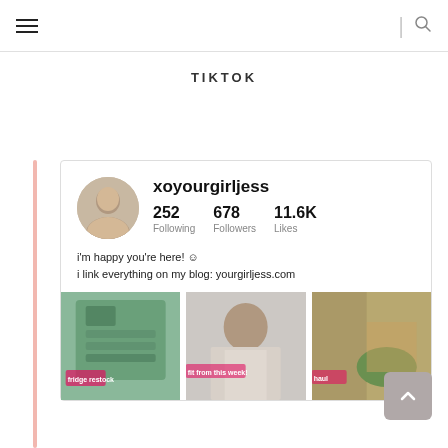Navigation bar with hamburger menu and search icon
TIKTOK
[Figure (screenshot): TikTok profile page for xoyourgirljess showing avatar, username, stats (252 Following, 678 Followers, 11.6K Likes), bio text, and three video thumbnails (fridge restock, fit from this week, grocery haul)]